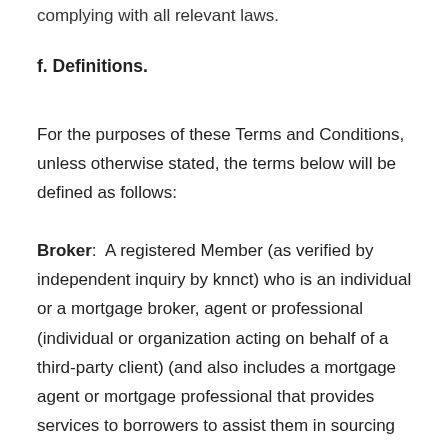complying with all relevant laws.
f. Definitions.
For the purposes of these Terms and Conditions, unless otherwise stated, the terms below will be defined as follows:
Broker:  A registered Member (as verified by independent inquiry by knnct) who is an individual or a mortgage broker, agent or professional (individual or organization acting on behalf of a third-party client) (and also includes a mortgage agent or mortgage professional that provides services to borrowers to assist them in sourcing mortgage loans)